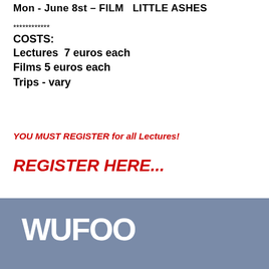Mon - June 8st – FILM  LITTLE ASHES
************
COSTS:
Lectures  7 euros each
Films 5 euros each
Trips - vary
YOU MUST REGISTER for all Lectures!
REGISTER HERE...
[Figure (logo): Wufoo logo on a grey-blue background]